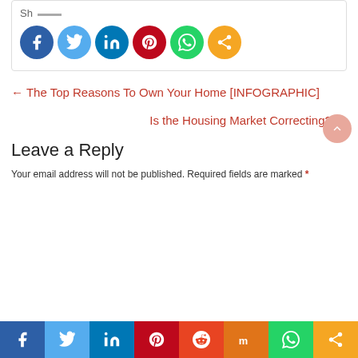[Figure (infographic): Social share buttons row with circular icons: Facebook (dark blue), Twitter (light blue), LinkedIn (dark blue-green), Pinterest (red), WhatsApp (green), Share (orange). Header bar with hamburger menu icon in red. Share label text 'Sh' visible.]
← The Top Reasons To Own Your Home [INFOGRAPHIC]
Is the Housing Market Correcting? →
Leave a Reply
Your email address will not be published. Required fields are marked *
[Figure (infographic): Bottom social share bar with colored sections: Facebook (dark blue), Twitter (blue), LinkedIn (blue), Pinterest (red), Reddit (orange-red), Mix (orange), WhatsApp (green), Share (orange). White icons on each.]